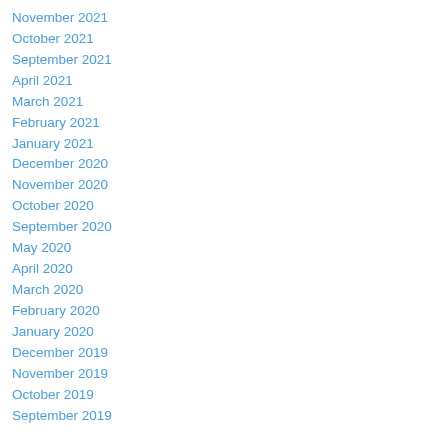November 2021
October 2021
September 2021
April 2021
March 2021
February 2021
January 2021
December 2020
November 2020
October 2020
September 2020
May 2020
April 2020
March 2020
February 2020
January 2020
December 2019
November 2019
October 2019
September 2019